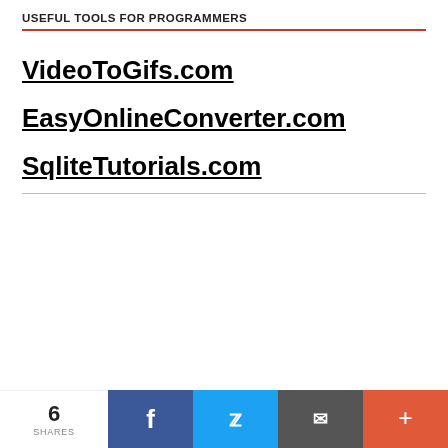USEFUL TOOLS FOR PROGRAMMERS
VideoToGifs.com
EasyOnlineConverter.com
SqliteTutorials.com
[Figure (screenshot): Advertisement for Checkr background check service. Shows checkr logo in teal, headline 'Still looking for a background check solution?', subtext 'We can help you get started.' with green italic 'get started', and a green bar at the bottom.]
6 SHARES